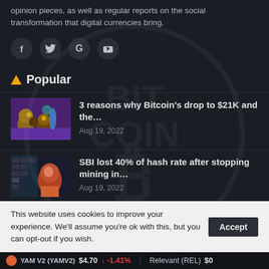opinion pieces, as well as regular reports on the social transformation that digital currencies bring.
[Figure (illustration): Four social media icon circles: Facebook (f), Twitter (bird), Google (G), Vimeo (v)]
Popular
[Figure (illustration): Thumbnail: colorful illustrated scene with mushroom-like figures in a purple/blue landscape]
3 reasons why Bitcoin's drop to $21K and the…
Aug 19, 2022
[Figure (illustration): Thumbnail: illustrated miner worker in red/brown tones with mining rig shelves in background]
SBI lost 40% of hash rate after stopping mining in…
Aug 19, 2022
[Figure (illustration): Partial thumbnail: colorful MMORPG scene (partially visible)]
MMORPG went into 'hiatus' after crypto…
This website uses cookies to improve your experience. We'll assume you're ok with this, but you can opt-out if you wish.
Accept
YAM v2 (YAMV2) $4.70 ↓ -1.41%   Relevant (REL) $0